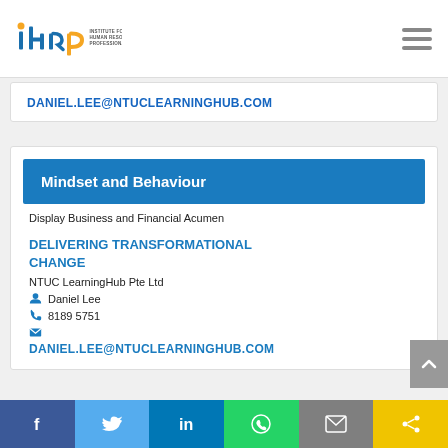Institute for Human Resource Professionals
DANIEL.LEE@NTUCLEARNINGHUB.COM
Mindset and Behaviour
Display Business and Financial Acumen
DELIVERING TRANSFORMATIONAL CHANGE
NTUC LearningHub Pte Ltd
Daniel Lee
8189 5751
DANIEL.LEE@NTUCLEARNINGHUB.COM
f  Twitter  in  WhatsApp  Email  Share